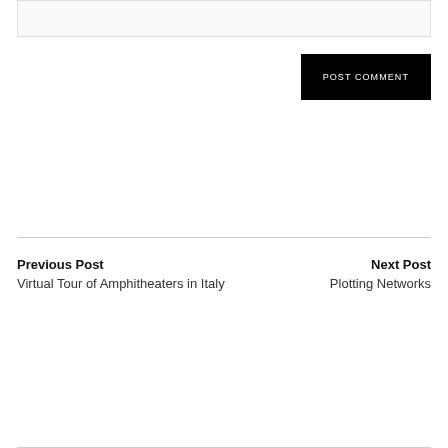[Figure (other): Input text box / comment field area (partial, cropped at top)]
POST COMMENT
Previous Post
Virtual Tour of Amphitheaters in Italy
Next Post
Plotting Networks